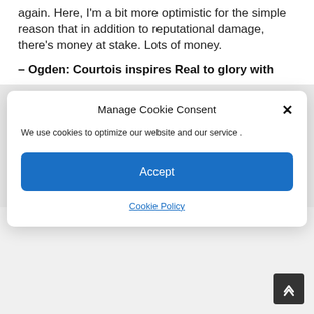again. Here, I'm a bit more optimistic for the simple reason that in addition to reputational damage, there's money at stake. Lots of money.
– Ogden: Courtois inspires Real to glory with
Manage Cookie Consent
We use cookies to optimize our website and our service .
Accept
Cookie Policy